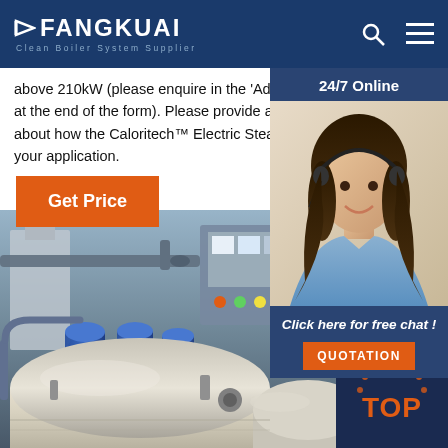FANGKUAI Clean Boiler System Supplier
above 210kW (please enquire in the 'Additional Information' field at the end of the form). Please provide as much detail as possible about how the Caloritech™ Electric Steam Boiler will be used in your application.
[Figure (other): Orange 'Get Price' button]
[Figure (photo): 24/7 Online chat widget showing a female customer service representative wearing a headset, with 'Click here for free chat!' text and an orange QUOTATION button]
[Figure (photo): Industrial boiler equipment photograph showing large cylindrical boiler vessels in a factory setting]
[Figure (other): Dark blue circular TOP button with orange arc design and 'TOP' text in orange]